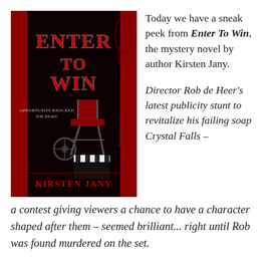[Figure (illustration): Book cover of 'Enter To Win' by Kirsten Jany. Dark red and black background with a director's chair, film equipment, clapperboard, and film reel. Title 'ENTER TO WIN' in large stylized red and silver letters at top. Tagline 'Opportunity Knocked 'Em Dead.' Author name 'Kirsten Jany' in red gothic font at bottom.]
Today we have a sneak peek from Enter To Win, the mystery novel by author Kirsten Jany.
Director Rob de Heer's latest publicity stunt to revitalize his failing soap Crystal Falls – a contest giving viewers a chance to have a character shaped after them – seemed brilliant... right until Rob was found murdered on the set.